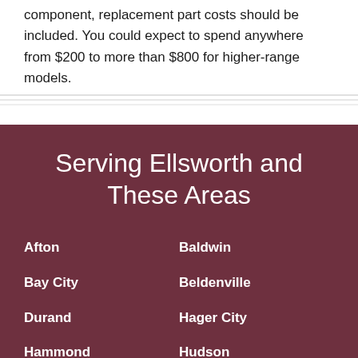component, replacement part costs should be included. You could expect to spend anywhere from $200 to more than $800 for higher-range models.
Serving Ellsworth and These Areas
Afton
Baldwin
Bay City
Beldenville
Durand
Hager City
Hammond
Hudson